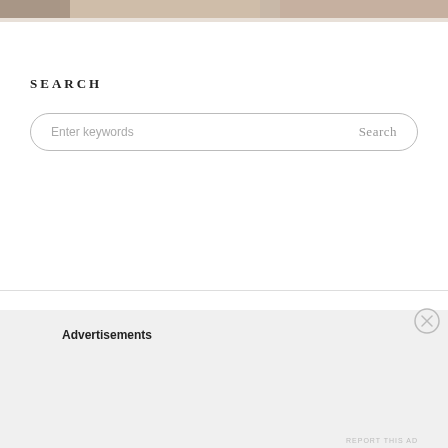[Figure (photo): Top portion of a photo showing people, cropped at the top of the page]
SEARCH
[Figure (other): Search input box with placeholder text 'Enter keywords' and a 'Search' button on the right, styled with rounded border]
Advertisements
REPORT THIS AD